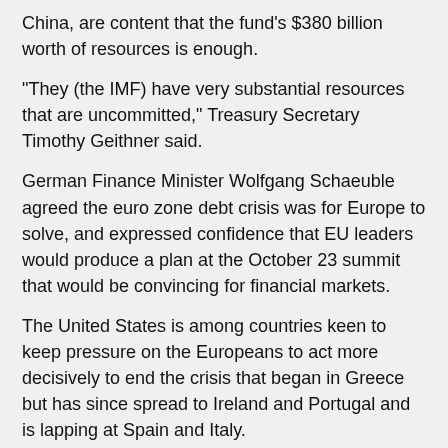China, are content that the fund's $380 billion worth of resources is enough.
"They (the IMF) have very substantial resources that are uncommitted," Treasury Secretary Timothy Geithner said.
German Finance Minister Wolfgang Schaeuble agreed the euro zone debt crisis was for Europe to solve, and expressed confidence that EU leaders would produce a plan at the October 23 summit that would be convincing for financial markets.
The United States is among countries keen to keep pressure on the Europeans to act more decisively to end the crisis that began in Greece but has since spread to Ireland and Portugal and is lapping at Spain and Italy.
"The first priority here is for Europeans to put their own house in order," Australian finance minister Wayne Swan said, though his office in Canberra later released a transcript of a CNN interview in which he added that the G20 should be willing to support extra IMF resourcing if required.
Canadian Finance Minister Jim Flaherty also said the G20 should keep up